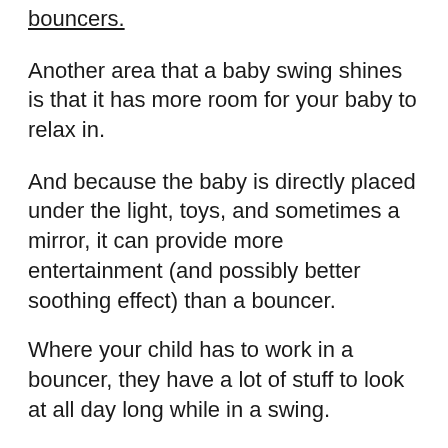bouncers.
Another area that a baby swing shines is that it has more room for your baby to relax in.
And because the baby is directly placed under the light, toys, and sometimes a mirror, it can provide more entertainment (and possibly better soothing effect) than a bouncer.
Where your child has to work in a bouncer, they have a lot of stuff to look at all day long while in a swing.
That’s not to say that bouncers too don’t have their own advantage. In fact, there is